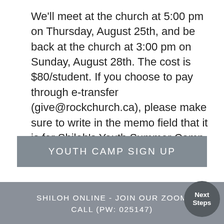We'll meet at the church at 5:00 pm on Thursday, August 25th, and be back at the church at 3:00 pm on Sunday, August 28th. The cost is $80/student. If you choose to pay through e-transfer (give@rockchurch.ca), please make sure to write in the memo field that it is for Shiloh's Youth Summer Camp.
YOUTH CAMP SIGN UP
SHILOH ONLINE - JOIN OUR ZOOM CALL (PW: 025147)
Next Steps